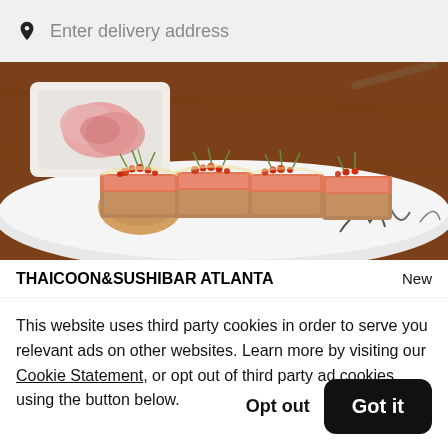Enter delivery address
[Figure (photo): Close-up photo of sushi rolls with orange fish roe (tobiko) on top, garnished with microgreens, on a white plate with a small dish of pink ginger in the background on a wooden surface.]
THAICOON&SUSHIBAR ATLANTA
New
This website uses third party cookies in order to serve you relevant ads on other websites. Learn more by visiting our Cookie Statement, or opt out of third party ad cookies using the button below.